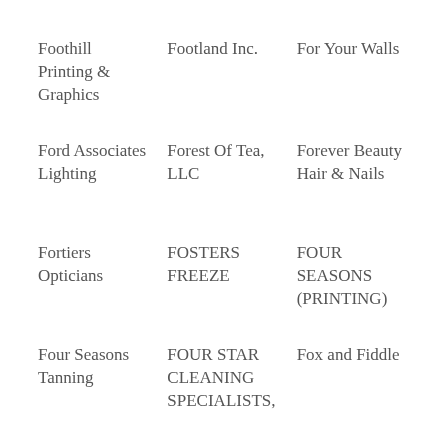Foothill Printing & Graphics
Footland Inc.
For Your Walls
Ford Associates Lighting
Forest Of Tea, LLC
Forever Beauty Hair & Nails
Fortiers Opticians
FOSTERS FREEZE
FOUR SEASONS (PRINTING)
Four Seasons Tanning
FOUR STAR CLEANING SPECIALISTS,
Fox and Fiddle